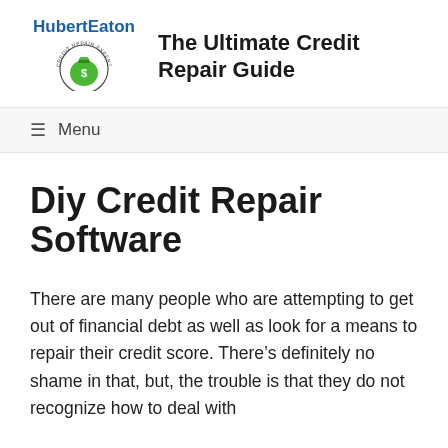HubertEaton | The Ultimate Credit Repair Guide
[Figure (logo): HubertEaton Credit Repair Expert logo: green money bag with dollar sign, circular text reading CREDIT REPAIR EXPERT]
Diy Credit Repair Software
There are many people who are attempting to get out of financial debt as well as look for a means to repair their credit score. There’s definitely no shame in that, but, the trouble is that they do not recognize how to deal with